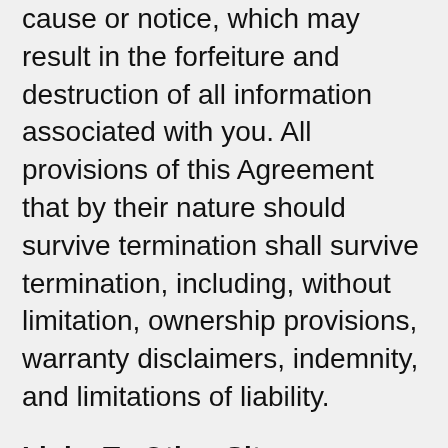cause or notice, which may result in the forfeiture and destruction of all information associated with you. All provisions of this Agreement that by their nature should survive termination shall survive termination, including, without limitation, ownership provisions, warranty disclaimers, indemnity, and limitations of liability.
Links To Other Sites
Our Site may contain links to third-party sites that are not owned or controlled by PrinceMilan.com.
PrinceMilan has no control over, and assumes no responsibility for, the content, privacy policies, or practices of any third party sites or services. We strongly advise you to read the terms and conditions